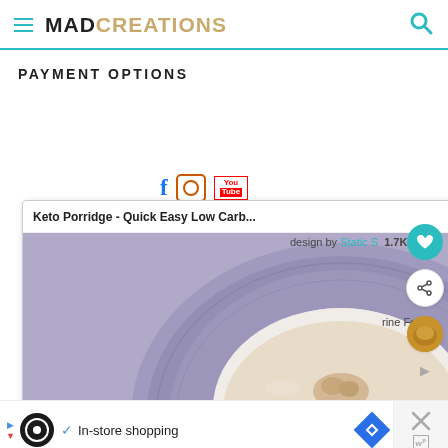MAD CREATIONS
PAYMENT OPTIONS
[Figure (screenshot): Popup overlay showing 'Keto Porridge - Quick Easy Low Carb...' with a food photo of porridge in a bowl on a decorative plate, with a close button (X)]
design by Static S  1.7K
rine Food
[Figure (screenshot): Ad bar at bottom with logo, checkmark, 'In-store shopping' text, navigation icon, and close X button with WP badge]